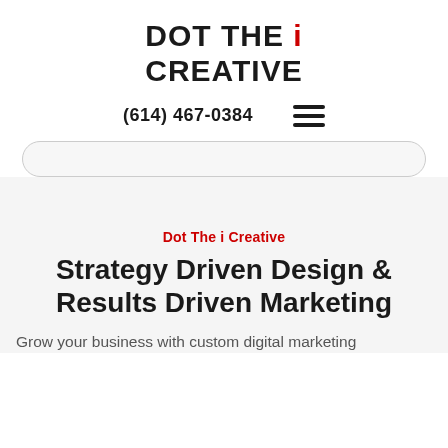DOT THE i CREATIVE
(614) 467-0384
[Figure (other): Hamburger menu icon (three horizontal lines)]
[Figure (other): Search bar / rounded rectangle input field]
Dot The i Creative
Strategy Driven Design & Results Driven Marketing
Grow your business with custom digital marketing